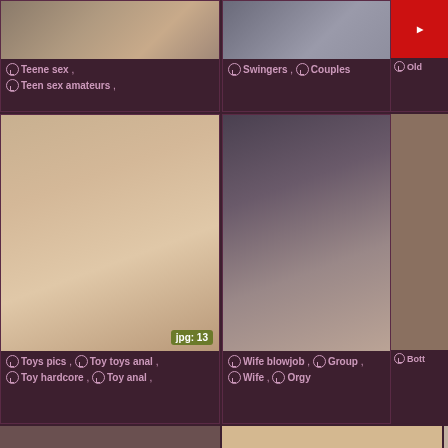[Figure (photo): Top-left thumbnail image with tags: Teene sex, Teen sex amateurs]
Teene sex , Teen sex amateurs ,
[Figure (photo): Top-center thumbnail with tags: Swingers, Couples]
Swingers , Couples
[Figure (photo): Top-right partial thumbnail with tag: Old]
Old
[Figure (photo): Middle-left large thumbnail, jpg: 13, tags: Toys pics, Toy toys anal, Toy hardcore, Toy anal]
Toys pics , Toy toys anal , Toy hardcore , Toy anal ,
[Figure (photo): Middle-center large thumbnail, jpg: 17, tags: Wife blowjob, Group, Wife, Orgy]
Wife blowjob , Group , Wife , Orgy
[Figure (photo): Middle-right partial large thumbnail, tag: Bott]
Bott
[Figure (photo): Bottom-left thumbnail, partial visible]
[Figure (photo): Bottom-center thumbnail, partial visible]
[Figure (photo): Bottom-right partial thumbnail]